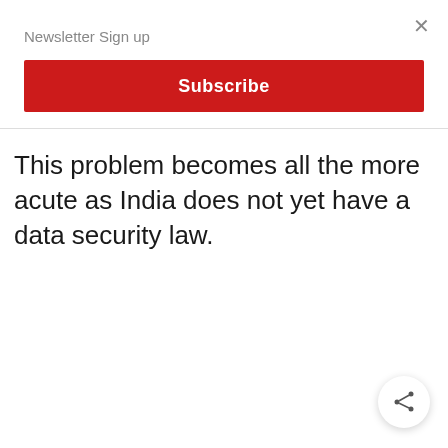Newsletter Sign up
Subscribe
This problem becomes all the more acute as India does not yet have a data security law.